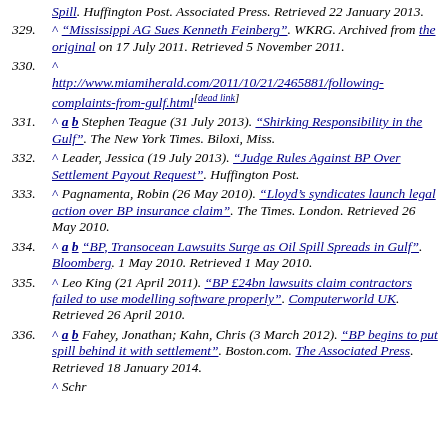329. ^ "Mississippi AG Sues Kenneth Feinberg". WKRG. Archived from the original on 17 July 2011. Retrieved 5 November 2011.
330. ^ http://www.miamiherald.com/2011/10/21/2465881/following-complaints-from-gulf.html[dead link]
331. ^ a b Stephen Teague (31 July 2013). "Shirking Responsibility in the Gulf". The New York Times. Biloxi, Miss.
332. ^ Leader, Jessica (19 July 2013). "Judge Rules Against BP Over Settlement Payout Request". Huffington Post.
333. ^ Pagnamenta, Robin (26 May 2010). "Lloyd's syndicates launch legal action over BP insurance claim". The Times. London. Retrieved 26 May 2010.
334. ^ a b "BP, Transocean Lawsuits Surge as Oil Spill Spreads in Gulf". Bloomberg. 1 May 2010. Retrieved 1 May 2010.
335. ^ Leo King (21 April 2011). "BP £24bn lawsuits claim contractors failed to use modelling software properly". Computerworld UK. Retrieved 26 April 2010.
336. ^ a b Fahey, Jonathan; Kahn, Chris (3 March 2012). "BP begins to put spill behind it with settlement". Boston.com. The Associated Press. Retrieved 18 January 2014.